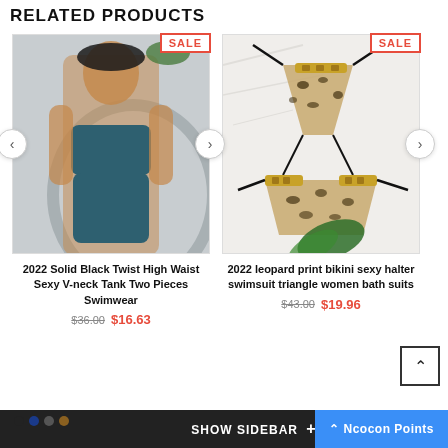RELATED PRODUCTS
[Figure (photo): Woman wearing teal/dark blue two-piece swimsuit with V-neck tank top and high waist bottoms, shown outdoors. Red SALE badge in top right corner. Navigation arrows on sides.]
2022 Solid Black Twist High Waist Sexy V-neck Tank Two Pieces Swimwear
$36.00  $16.63
[Figure (photo): Leopard print bikini with gold hardware and black tie straps, laid flat on white fur surface with green tropical leaf. Red SALE badge in top right corner.]
2022 leopard print bikini sexy halter swimsuit triangle women bath suits
$43.00  $19.96